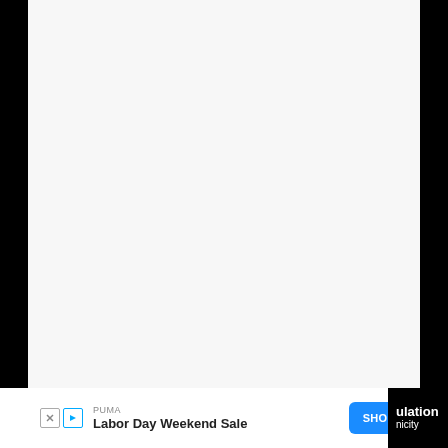[Figure (other): Large white/light gray rectangular content area on a dark background, mostly blank/white space filling the upper portion of the page.]
[Figure (other): Advertisement banner at the bottom: PUMA brand, 'Labor Day Weekend Sale' headline, 'SHOP NOW' blue button, ad attribution icons (X and arrow). Partial text visible on left ('T', 'a') and right ('ulation', 'nicity') sides in white on black background.]